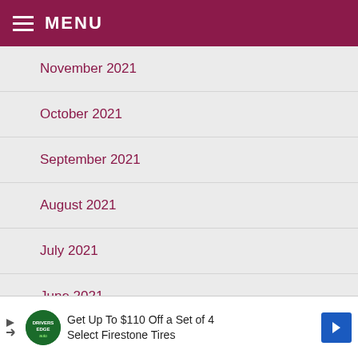MENU
November 2021
October 2021
September 2021
August 2021
July 2021
June 2021
May 2021
[Figure (screenshot): Video popup showing a bald man with C&H West Ham logo, overlay text 'IRONS 1-1 SPURS', close button top right]
Get Up To $110 Off a Set of 4 Select Firestone Tires